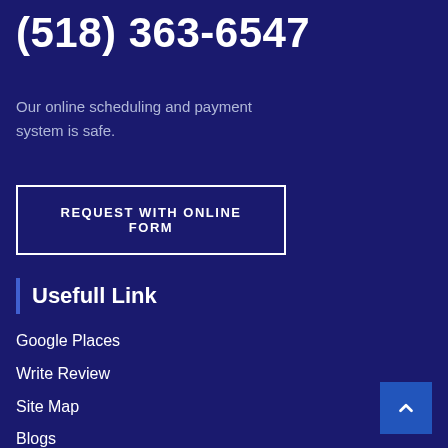(518) 363-6547
Our online scheduling and payment system is safe.
REQUEST WITH ONLINE FORM
Usefull Link
Google Places
Write Review
Site Map
Blogs